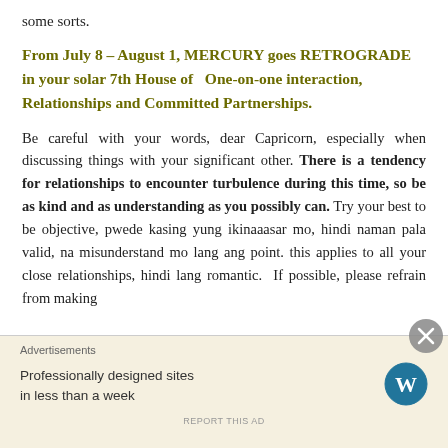some sorts.
From July 8 – August 1, MERCURY goes RETROGRADE in your solar 7th House of  One-on-one interaction, Relationships and Committed Partnerships.
Be careful with your words, dear Capricorn, especially when discussing things with your significant other. There is a tendency for relationships to encounter turbulence during this time, so be as kind and as understanding as you possibly can. Try your best to be objective, pwede kasing yung ikinaaasar mo, hindi naman pala valid, na misunderstand mo lang ang point. this applies to all your close relationships, hindi lang romantic.  If possible, please refrain from making
Advertisements
Professionally designed sites in less than a week